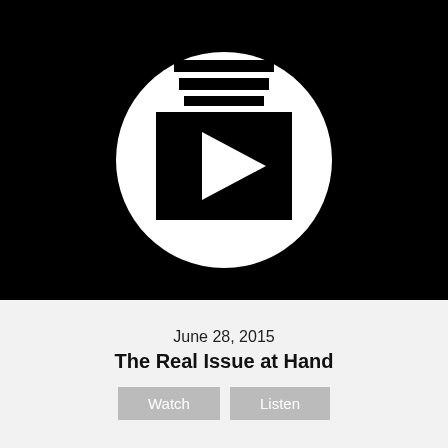[Figure (illustration): Black background with white circle containing a playlist/video icon (stacked bars above a play button rectangle with triangle)]
June 28, 2015
The Real Issue at Hand
Watch   Listen
[Figure (illustration): Black background with white circle containing a playlist/video icon (stacked bars above a play button rectangle with triangle)]